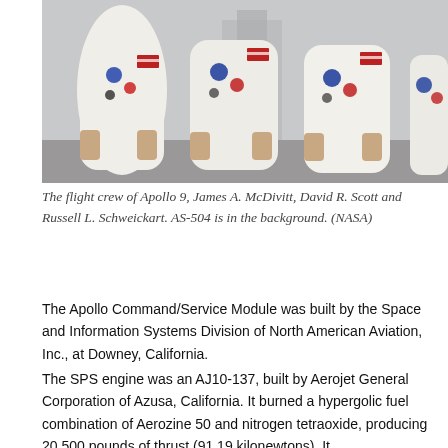[Figure (photo): Three astronauts in white spacesuits walking side by side, with space suit connectors and patches visible on the suits. The rocket AS-504 is visible in the background.]
The flight crew of Apollo 9, James A. McDivitt, David R. Scott and Russell L. Schweickart. AS-504 is in the background. (NASA)
The Apollo Command/Service Module was built by the Space and Information Systems Division of North American Aviation, Inc., at Downey, California.
The SPS engine was an AJ10-137, built by Aerojet General Corporation of Azusa, California. It burned a hypergolic fuel combination of Aerozine 50 and nitrogen tetraoxide, producing 20,500 pounds of thrust (91.19 kilonewtons). It